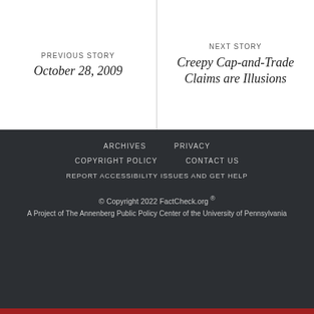PREVIOUS STORY
October 28, 2009
NEXT STORY
Creepy Cap-and-Trade Claims are Illusions
ARCHIVES   PRIVACY   COPYRIGHT POLICY   CONTACT US   REPORT ACCESSIBILITY ISSUES AND GET HELP
© Copyright 2022 FactCheck.org ®
A Project of The Annenberg Public Policy Center of the University of Pennsylvania